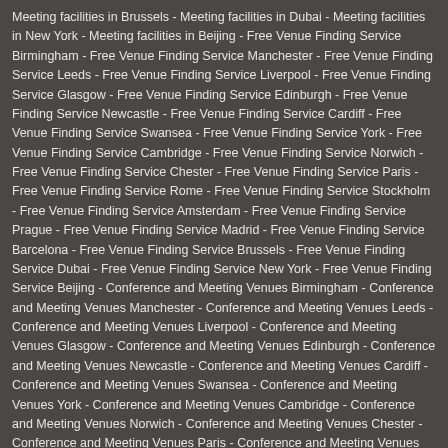Meeting facilities in Brussels - Meeting facilities in Dubai - Meeting facilities in New York - Meeting facilities in Beijing - Free Venue Finding Service Birmingham - Free Venue Finding Service Manchester - Free Venue Finding Service Leeds - Free Venue Finding Service Liverpool - Free Venue Finding Service Glasgow - Free Venue Finding Service Edinburgh - Free Venue Finding Service Newcastle - Free Venue Finding Service Cardiff - Free Venue Finding Service Swansea - Free Venue Finding Service York - Free Venue Finding Service Cambridge - Free Venue Finding Service Norwich - Free Venue Finding Service Chester - Free Venue Finding Service Paris - Free Venue Finding Service Rome - Free Venue Finding Service Stockholm - Free Venue Finding Service Amsterdam - Free Venue Finding Service Prague - Free Venue Finding Service Madrid - Free Venue Finding Service Barcelona - Free Venue Finding Service Brussels - Free Venue Finding Service Dubai - Free Venue Finding Service New York - Free Venue Finding Service Beijing - Conference and Meeting Venues Birmingham - Conference and Meeting Venues Manchester - Conference and Meeting Venues Leeds - Conference and Meeting Venues Liverpool - Conference and Meeting Venues Glasgow - Conference and Meeting Venues Edinburgh - Conference and Meeting Venues Newcastle - Conference and Meeting Venues Cardiff - Conference and Meeting Venues Swansea - Conference and Meeting Venues York - Conference and Meeting Venues Cambridge - Conference and Meeting Venues Norwich - Conference and Meeting Venues Chester - Conference and Meeting Venues Paris - Conference and Meeting Venues Rome - Conference and Meeting Venues Stockholm -